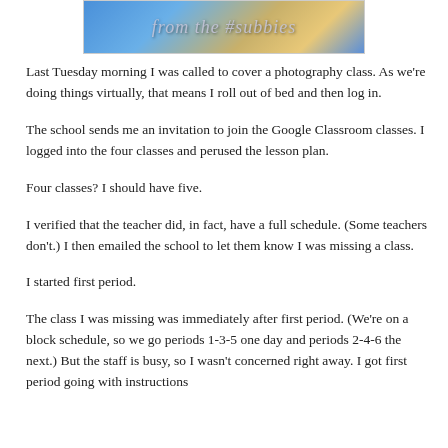[Figure (photo): Partial photo with stylized text overlay reading 'from the #subbies' on a blue and warm-toned background]
Last Tuesday morning I was called to cover a photography class. As we're doing things virtually, that means I roll out of bed and then log in.
The school sends me an invitation to join the Google Classroom classes. I logged into the four classes and perused the lesson plan.
Four classes? I should have five.
I verified that the teacher did, in fact, have a full schedule. (Some teachers don't.) I then emailed the school to let them know I was missing a class.
I started first period.
The class I was missing was immediately after first period. (We're on a block schedule, so we go periods 1-3-5 one day and periods 2-4-6 the next.) But the staff is busy, so I wasn't concerned right away. I got first period going with instructions